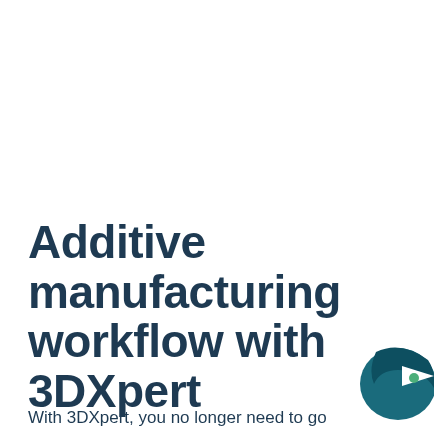Additive manufacturing workflow with 3DXpert
With 3DXpert, you no longer need to go
[Figure (logo): 3DXpert / IronCAD style logo: a teal/dark-teal rounded bird or abstract shape with a small green dot]